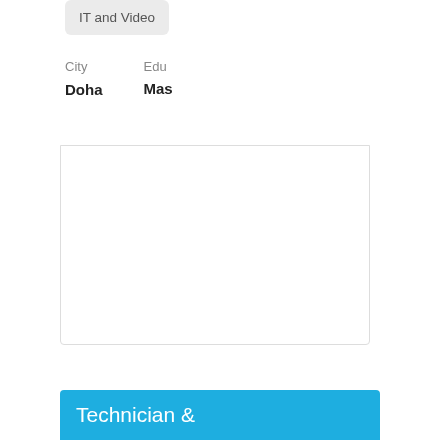IT and Video
| City | Edu |
| --- | --- |
| Doha | Mas |
Technician
Posted 09 Jun
Key knowledge
"5 years exp
| City | Edu |
| --- | --- |
| Doha | Mas |